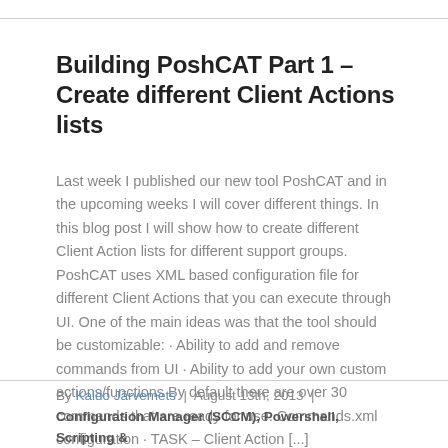Building PoshCAT Part 1 – Create different Client Actions lists
Last week I published our new tool PoshCAT and in the upcoming weeks I will cover different things. In this blog post I will show how to create different Client Action lists for different support groups. PoshCAT uses XML based configuration file for different Client Actions that you can execute through UI. One of the main ideas was that the tool should be customizable: · Ability to add and remove commands from UI · Ability to add your own custom actions/functions By default there are over 30 commands that are ready for use. Commands.xml configuration · TASK – Client Action [...]
By Kaido Järvemets | August 13th, 2013 | Configuration Manager (SCCM), Powershell, Scripting &